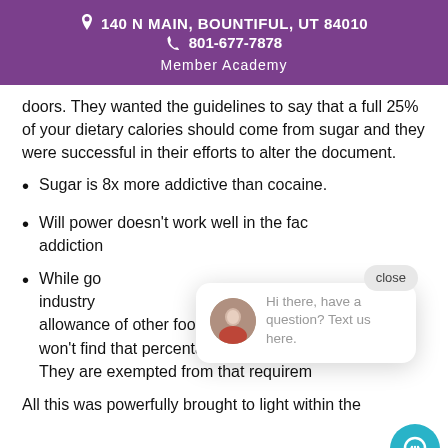140 N MAIN, BOUNTIFUL, UT 84010
801-677-7878
Member Academy
doors. They wanted the guidelines to say that a full 25% of your dietary calories should come from sugar and they were successful in their efforts to alter the document.
Sugar is 8x more addictive than cocaine.
Will power doesn't work well in the face of addiction.
While government food agencies allow industry to list the percentage daily allowance of other food ingredients, you won't find that percentage next to sugar. They are exempted from that requirement.
All this was powerfully brought to light within the